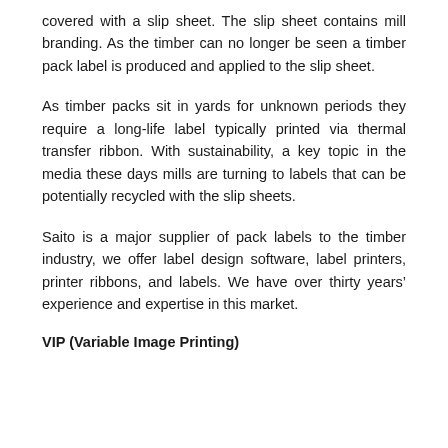covered with a slip sheet. The slip sheet contains mill branding. As the timber can no longer be seen a timber pack label is produced and applied to the slip sheet.
As timber packs sit in yards for unknown periods they require a long-life label typically printed via thermal transfer ribbon. With sustainability, a key topic in the media these days mills are turning to labels that can be potentially recycled with the slip sheets.
Saito is a major supplier of pack labels to the timber industry, we offer label design software, label printers, printer ribbons, and labels. We have over thirty years’ experience and expertise in this market.
VIP (Variable Image Printing)